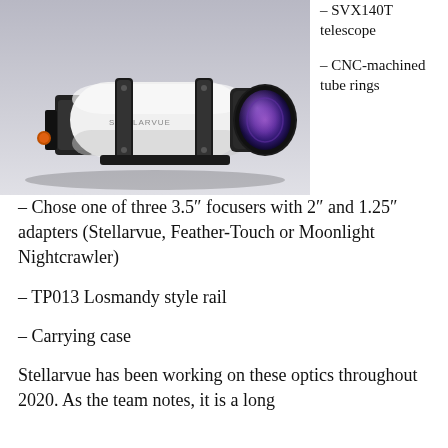[Figure (photo): A white Stellarvue SVX140T refractor telescope on a black mounting bracket, with a purple-coated front lens element visible, on a light grey background.]
– SVX140T telescope
– CNC-machined tube rings
– Chose one of three 3.5" focusers with 2" and 1.25" adapters (Stellarvue, Feather-Touch or Moonlight Nightcrawler)
– TP013 Losmandy style rail
– Carrying case
Stellarvue has been working on these optics throughout 2020. As the team notes, it is a long